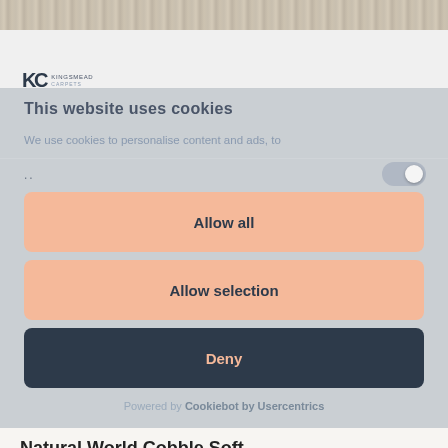[Figure (photo): Carpet texture background strip at the top of the page]
[Figure (logo): Kingsmead Carpets logo — KC initials with KINGSMEAD text]
This website uses cookies
We use cookies to personalise content and ads, to
..
Allow all
Allow selection
Deny
Powered by Cookiebot by Usercentrics
Natural World Cobble Soft